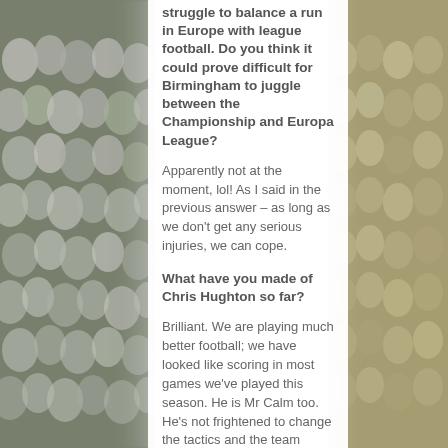[Figure (photo): Football crowd photo on left side of page — fans in white and yellow shirts in stadium stands]
[Figure (photo): Football crowd photo on right side of page — fans in white and yellow shirts in stadium stands]
struggle to balance a run in Europe with league football. Do you think it could prove difficult for Birmingham to juggle between the Championship and Europa League?
Apparently not at the moment, lol! As I said in the previous answer – as long as we don't get any serious injuries, we can cope.
What have you made of Chris Hughton so far?
Brilliant. We are playing much better football; we have looked like scoring in most games we've played this season. He is Mr Calm too. He's not frightened to change the tactics and the team clearly believe in themselves.